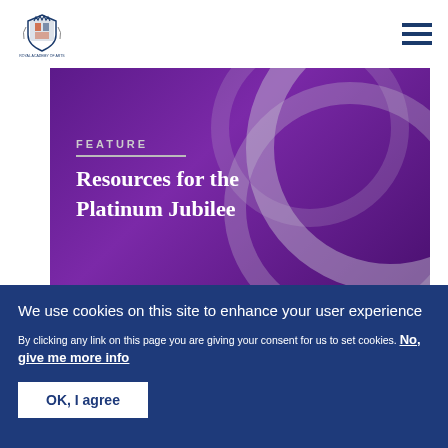Government website header with royal crest logo and hamburger menu
[Figure (illustration): Purple feature banner with decorative silver circular arcs, labeled FEATURE with title 'Resources for the Platinum Jubilee' in white serif font]
We use cookies on this site to enhance your user experience
By clicking any link on this page you are giving your consent for us to set cookies. No, give me more info
OK, I agree